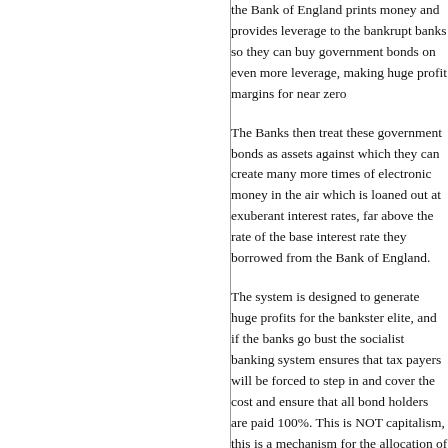the Bank of England prints money and provides leverage to the bankrupt banks so they can buy government bonds on even more leverage, making huge profit margins for near zero risk.
The Banks then treat these government bonds as assets against which they can create many more times of electronic money in the air which is loaned out at exuberant interest rates, far above the rate of the base interest rate they borrowed from the Bank of England.
The system is designed to generate huge profits for the bankster elite, and if the banks go bust the socialist banking system ensures that tax payers will be forced to step in and cover the cost and ensure that all bond holders are paid 100%. This is NOT capitalism, this is NOT free market. Free market capitalism is a mechanism for the allocation of capital to whichever business is profitable, and when a business is profitable the business grows, and if a business stops being profitable the capital moves to other ventures that could prove profitable. By conjuring money out of thin air that subsidises any business whether it is viable or not (as long as there is unlimited money), and then if they fail have tax payers step in and cover